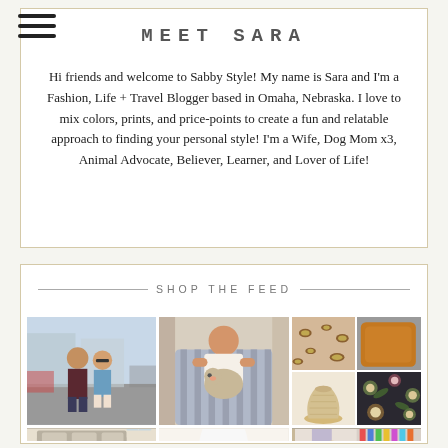[Figure (illustration): Hamburger menu icon (three horizontal bars) in top left corner]
Hi friends and welcome to Sabby Style! My name is Sara and I'm a Fashion, Life + Travel Blogger based in Omaha, Nebraska. I love to mix colors, prints, and price-points to create a fun and relatable approach to finding your personal style! I'm a Wife, Dog Mom x3, Animal Advocate, Believer, Learner, and Lover of Life!
SHOP THE FEED
[Figure (photo): Photo grid of 6 images: couple posing outdoors in parking lot, woman sitting in chair holding small dog, top-right 2x2 sub-grid showing leopard print item, orange pillow, cream/gold textured vase, floral bedding; bottom row shows living room, white vase, woman standing indoors, woman with dog near clothing rack]